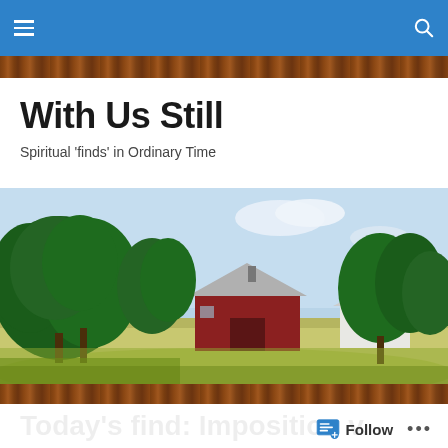With Us Still — navigation bar
With Us Still
Spiritual 'finds' in Ordinary Time
[Figure (photo): Rural farmland scene with a red barn and white outbuilding surrounded by large green trees, with an open grassy field in the foreground under a partly cloudy sky.]
Today's find: Imposition v. disposition
Follow